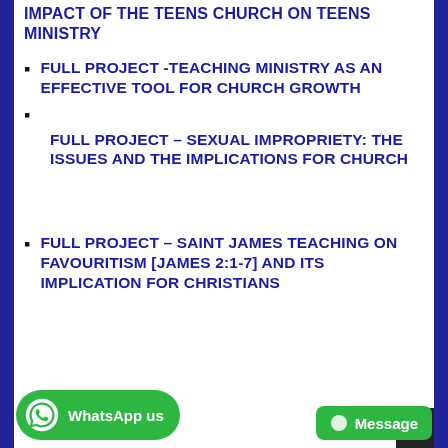IMPACT OF THE TEENS CHURCH ON TEENS MINISTRY
FULL PROJECT -TEACHING MINISTRY AS AN EFFECTIVE TOOL FOR CHURCH GROWTH
FULL PROJECT – SEXUAL IMPROPRIETY: THE ISSUES AND THE IMPLICATIONS FOR CHURCH
FULL PROJECT – SAINT JAMES TEACHING ON FAVOURITISM [JAMES 2:1-7] AND ITS IMPLICATION FOR CHRISTIANS